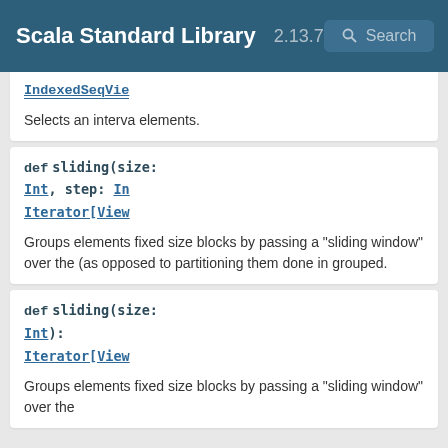Scala Standard Library 2.13.7 Search
IndexedSeqView
Selects an interval elements.
def sliding(size: Int, step: In Iterator[View
Groups elements fixed size blocks by passing a "sliding window" over the (as opposed to partitioning them done in grouped.
def sliding(size: Int): Iterator[View
Groups elements fixed size blocks by passing a "sliding window" over the